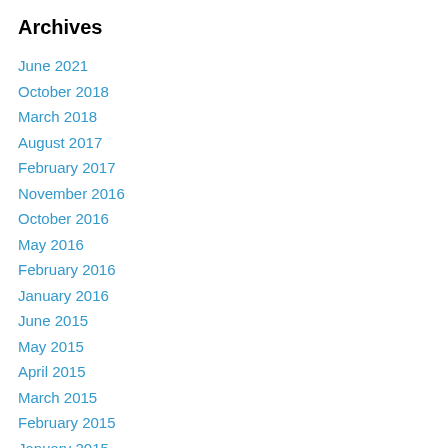Archives
June 2021
October 2018
March 2018
August 2017
February 2017
November 2016
October 2016
May 2016
February 2016
January 2016
June 2015
May 2015
April 2015
March 2015
February 2015
January 2015
December 2014
November 2014